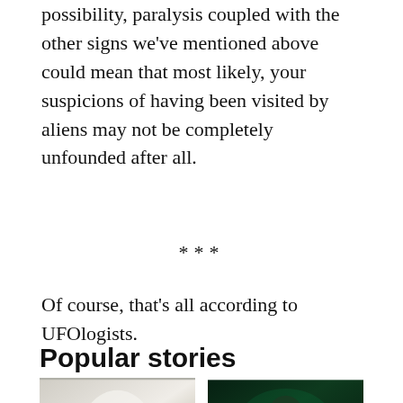possibility, paralysis coupled with the other signs we've mentioned above could mean that most likely, your suspicions of having been visited by aliens may not be completely unfounded after all.
***
Of course, that's all according to UFOlogists.
Popular stories
[Figure (photo): A hand holding a white mug with a man's photo on it and the text 'Drink up.']
[Figure (photo): A person wearing a mask and hat using a laptop in green-lit environment]
This is why you should trust no one...
Your child, a far-right extremist? 11 early...